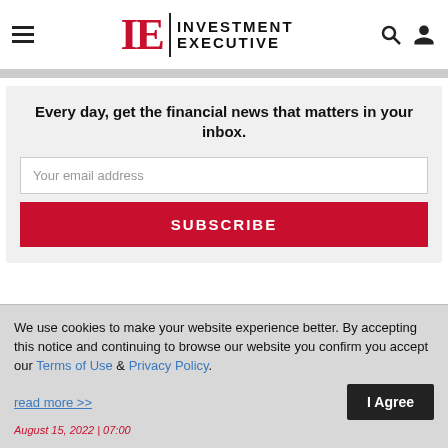IE INVESTMENT EXECUTIVE
Every day, get the financial news that matters in your inbox.
Your email address
SUBSCRIBE
We use cookies to make your website experience better. By accepting this notice and continuing to browse our website you confirm you accept our Terms of Use & Privacy Policy.
read more >>
I Agree
August 15, 2022 | 07:00